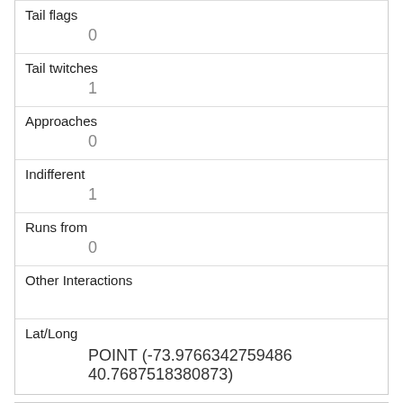| Tail flags | 0 |
| Tail twitches | 1 |
| Approaches | 0 |
| Indifferent | 1 |
| Runs from | 0 |
| Other Interactions |  |
| Lat/Long | POINT (-73.9766342759486 40.7687518380873) |
| Link | 2486 |
| rowid | 2486 |
| longitude |  |